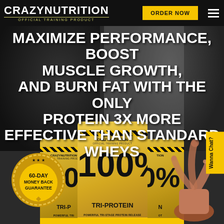CRAZYNUTRITION OFFICIAL TRAINING PRODUCT | ORDER NOW
MAXIMIZE PERFORMANCE, BOOST MUSCLE GROWTH, AND BURN FAT WITH THE ONLY PROTEIN 3X MORE EFFECTIVE THAN STANDARD WHEYS
[Figure (photo): Product hero image showing three yellow Crazy Nutrition 100% Tri-Protein supplement bags with a 60-day money back guarantee badge and a chocolate protein shake splash on the right side, set against a dark background with a fitness athlete silhouette]
60-DAY MONEY BACK GUARANTEE
100% TRI-PROTEIN | POWERFUL TRI-STAGE PROTEIN RELEASE
Wanna Chat?